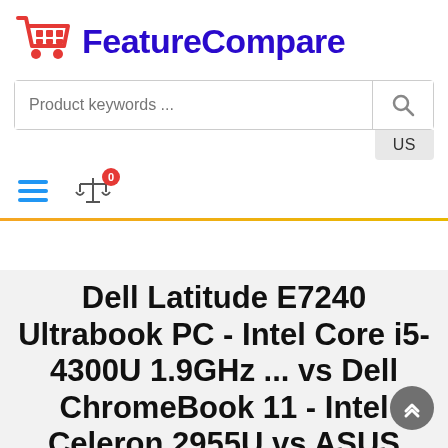[Figure (logo): FeatureCompare logo with red shopping cart icon and bold dark blue text 'FeatureCompare']
[Figure (screenshot): Search bar with placeholder text 'Product keywords ...' and a search icon button]
[Figure (screenshot): US country selector button]
[Figure (screenshot): Hamburger menu icon (three blue lines) and compare balance scale icon with red badge showing 0]
Dell Latitude E7240 Ultrabook PC - Intel Core i5-4300U 1.9GHz ... vs Dell ChromeBook 11 - Intel Celeron 2955U vs ASUS ROG Zephyrus